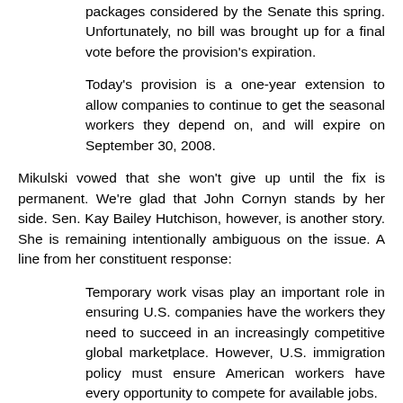packages considered by the Senate this spring. Unfortunately, no bill was brought up for a final vote before the provision's expiration.
Today's provision is a one-year extension to allow companies to continue to get the seasonal workers they depend on, and will expire on September 30, 2008.
Mikulski vowed that she won't give up until the fix is permanent. We're glad that John Cornyn stands by her side. Sen. Kay Bailey Hutchison, however, is another story. She is remaining intentionally ambiguous on the issue. A line from her constituent response:
Temporary work visas play an important role in ensuring U.S. companies have the workers they need to succeed in an increasingly competitive global marketplace. However, U.S. immigration policy must ensure American workers have every opportunity to compete for available jobs.
Perhaps she will remain vague, since anything regarding